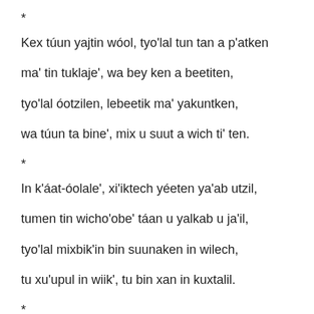*
Kex túun yajtin wóol, tyo'lal tun tan a p'atken
ma' tin tuklaje', wa bey ken a beetiten,
tyo'lal óotzilen, lebeetik ma' yakuntken,
wa túun ta bine', mix u suut a wich ti' ten.
*
In k'áat-óolale', xi'iktech yéeten ya'ab utzil,
tumen tin wicho'obe' táan u yalkab u ja'il,
tyo'lal mixbik'in bin suunaken in wilech,
tu xu'upul in wiik', tu bin xan in kuxtalil.
*